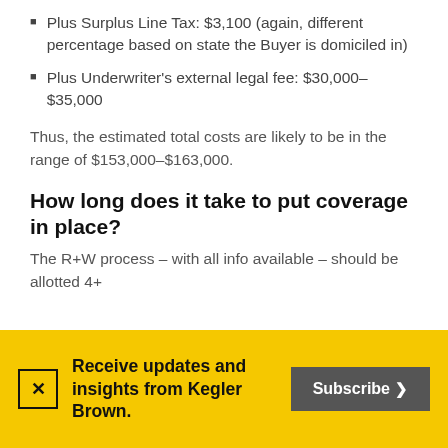Plus Surplus Line Tax: $3,100 (again, different percentage based on state the Buyer is domiciled in)
Plus Underwriter's external legal fee: $30,000–$35,000
Thus, the estimated total costs are likely to be in the range of $153,000–$163,000.
How long does it take to put coverage in place?
The R+W process – with all info available – should be allotted 4+
Receive updates and insights from Kegler Brown.